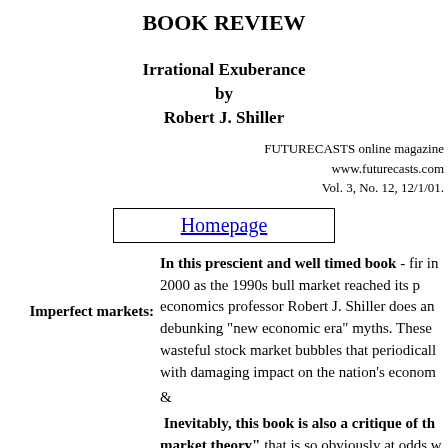BOOK REVIEW
Irrational Exuberance
by
Robert J. Shiller
FUTURECASTS online magazine
www.futurecasts.com
Vol. 3, No. 12, 12/1/01.
Homepage
In this prescient and well timed book - fir in 2000 as the 1990s bull market reached its p economics professor Robert J. Shiller does an debunking "new economic era" myths. These wasteful stock market bubbles that periodicall with damaging impact on the nation's econom
Imperfect markets:
&
Inevitably, this book is also a critique of th market theory" that is so obviously at odds w observable facts of market history.
"The high recent valuations in the stoc have come about for no good reasons. T